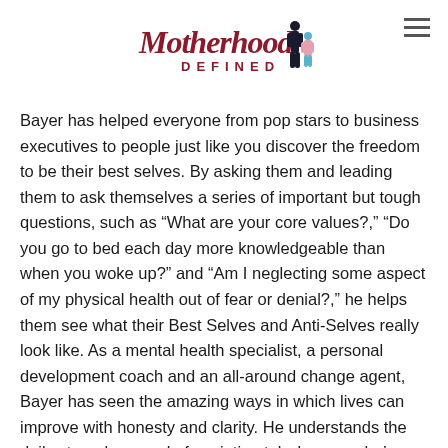Motherhood Defined
Bayer has helped everyone from pop stars to business executives to people just like you discover the freedom to be their best selves. By asking them and leading them to ask themselves a series of important but tough questions, such as “What are your core values?,” “Do you go to bed each day more knowledgeable than when you woke up?” and “Am I neglecting some aspect of my physical health out of fear or denial?,” he helps them see what their Best Selves and Anti-Selves really look like. As a mental health specialist, a personal development coach and an all-around change agent, Bayer has seen the amazing ways in which lives can improve with honesty and clarity. He understands the daily struggles people face intimately, because he’s faced – and overcome – his own, and he knows that change is possible.